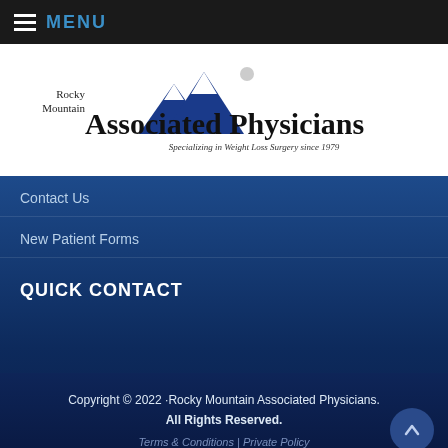MENU
[Figure (logo): Rocky Mountain Associated Physicians logo with mountain peaks icon. Text reads: Rocky Mountain Associated Physicians - Specializing in Weight Loss Surgery since 1979]
Contact Us
New Patient Forms
QUICK CONTACT
Copyright © 2022 ·Rocky Mountain Associated Physicians. All Rights Reserved. Terms & Conditions | Private Policy